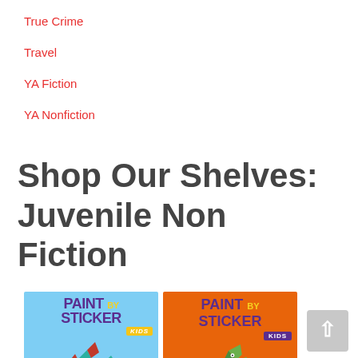True Crime
Travel
YA Fiction
YA Nonfiction
Shop Our Shelves: Juvenile Non Fiction
[Figure (illustration): Book cover: Paint by Sticker Kids - The Original, featuring a geometric stegosaurus dinosaur on a light blue background]
[Figure (illustration): Book cover: Paint by Sticker Kids - Dinosaurs, featuring a geometric T-Rex dinosaur on an orange background]